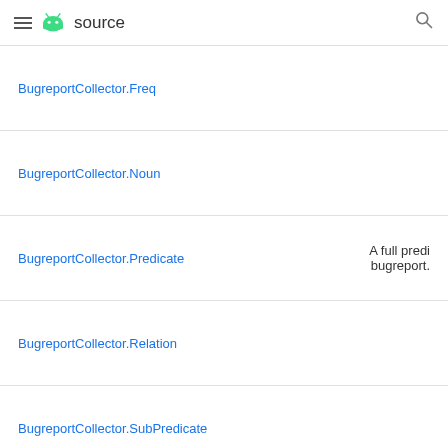≡ android source 🔍
BugreportCollector.Freq
BugreportCollector.Noun
BugreportCollector.Predicate
BugreportCollector.Relation
BugreportCollector.SubPredicate
BugreportzOnFailureCollector
BugreportzOnTestCaseFailureCollector
BuildError